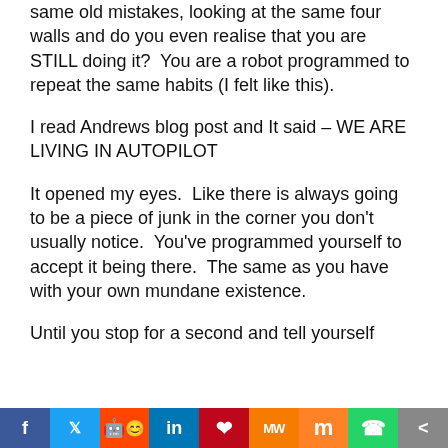same old mistakes, looking at the same four walls and do you even realise that you are STILL doing it?  You are a robot programmed to repeat the same habits (I felt like this).
I read Andrews blog post and It said – WE ARE LIVING IN AUTOPILOT
It opened my eyes.  Like there is always going to be a piece of junk in the corner you don't usually notice.  You've programmed yourself to accept it being there.  The same as you have with your own mundane existence.
Until you stop for a second and tell yourself
f  Twitter  Reddit  in  Pinterest  MW  Mix  WhatsApp  Share